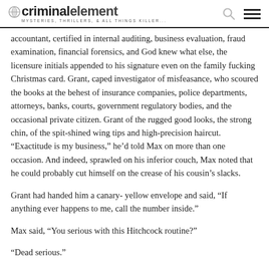criminalelement MYSTERIES, THRILLERS, & ALL THINGS KILLER...
accountant, certified in internal auditing, business evaluation, fraud examination, financial forensics, and God knew what else, the licensure initials appended to his signature even on the family fucking Christmas card. Grant, caped investigator of misfeasance, who scoured the books at the behest of insurance companies, police departments, attorneys, banks, courts, government regulatory bodies, and the occasional private citizen. Grant of the rugged good looks, the strong chin, of the spit-shined wing tips and high-precision haircut. “Exactitude is my business,” he’d told Max on more than one occasion. And indeed, sprawled on his inferior couch, Max noted that he could probably cut himself on the crease of his cousin’s slacks.
Grant had handed him a canary- yellow envelope and said, “If anything ever happens to me, call the number inside.”
Max said, “You serious with this Hitchcock routine?”
“Dead serious.”
Max called and he’d said, “Who’s your dentist?”